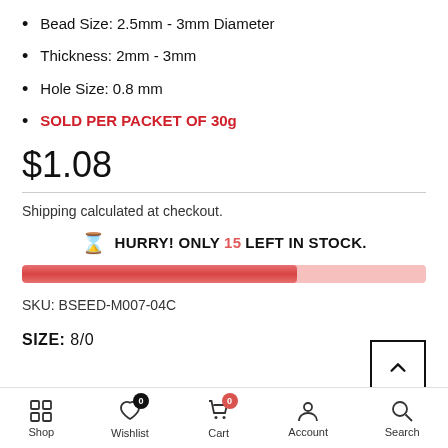Bead Size: 2.5mm - 3mm Diameter
Thickness: 2mm - 3mm
Hole Size: 0.8 mm
SOLD PER PACKET OF 30g
$1.08
Shipping calculated at checkout.
HURRY! ONLY 15 LEFT IN STOCK.
SKU: BSEED-M007-04C
SIZE: 8/0
Shop  Wishlist  Cart  Account  Search